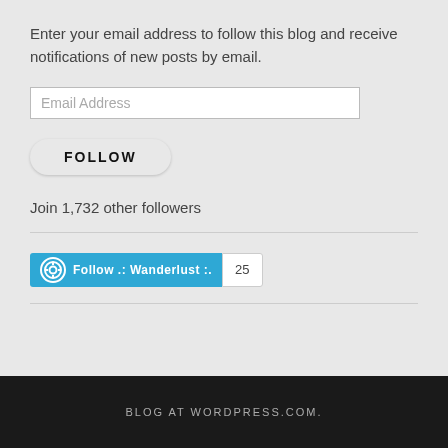Enter your email address to follow this blog and receive notifications of new posts by email.
Email Address
FOLLOW
Join 1,732 other followers
[Figure (other): WordPress Follow button widget for 'Follow .: Wanderlust :.' with follower count badge showing 25]
BLOG AT WORDPRESS.COM.